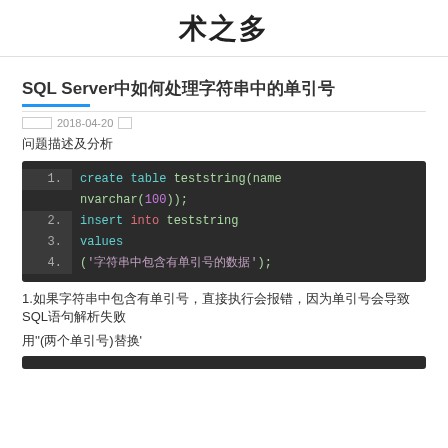术之多
SQL Server中如何处理字符串中的单引号
发布时间  2018-04-20  阅读
问题描述及分析
[Figure (screenshot): SQL Server code block showing: 1. create table teststring(name nvarchar(100)); 2. insert into teststring 3. values 4. ('字符串中包含有单引号的数据');]
1.如果字符串中包含有单引号，直接执行会报错，因为单引号会导致SQL语句解析失败
用''(两个单引号)替换'
[Figure (screenshot): Another code block (partially visible at bottom)]